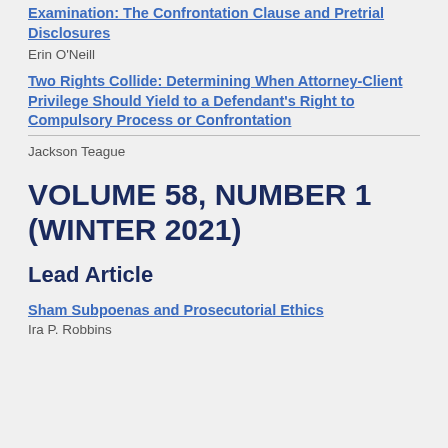Examination: The Confrontation Clause and Pretrial Disclosures
Erin O'Neill
Two Rights Collide: Determining When Attorney-Client Privilege Should Yield to a Defendant's Right to Compulsory Process or Confrontation
Jackson Teague
VOLUME 58, NUMBER 1 (WINTER 2021)
Lead Article
Sham Subpoenas and Prosecutorial Ethics
Ira P. Robbins